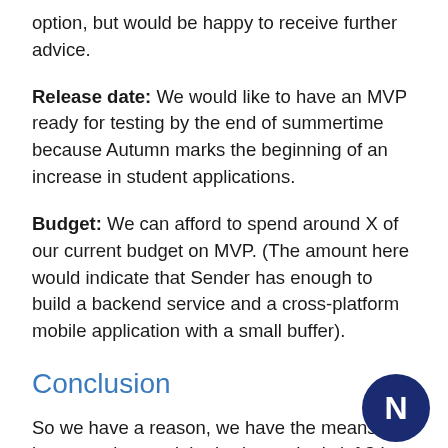option, but would be happy to receive further advice.
Release date: We would like to have an MVP ready for testing by the end of summertime because Autumn marks the beginning of an increase in student applications.
Budget: We can afford to spend around X of our current budget on MVP. (The amount here would indicate that Sender has enough to build a backend service and a cross-platform mobile application with a small buffer).
Conclusion
So we have a reason, we have the means, we ha... time and the budget- what's left? In honesty, the... lot of other details that you will run through with your